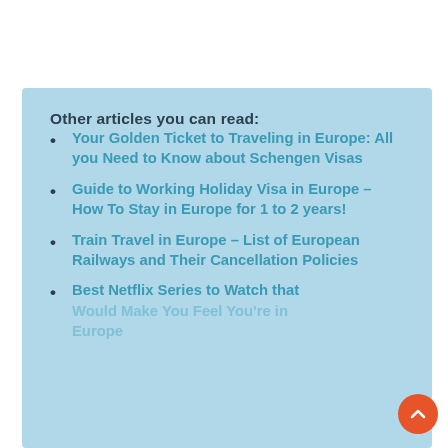Other articles you can read:
Your Golden Ticket to Traveling in Europe: All you Need to Know about Schengen Visas
Guide to Working Holiday Visa in Europe – How To Stay in Europe for 1 to 2 years!
Train Travel in Europe – List of European Railways and Their Cancellation Policies
Best Netflix Series to Watch that Would Make You Feel You're in Europe